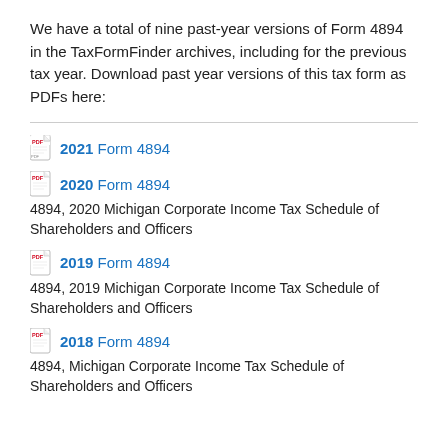We have a total of nine past-year versions of Form 4894 in the TaxFormFinder archives, including for the previous tax year. Download past year versions of this tax form as PDFs here:
2021 Form 4894
2020 Form 4894
4894, 2020 Michigan Corporate Income Tax Schedule of Shareholders and Officers
2019 Form 4894
4894, 2019 Michigan Corporate Income Tax Schedule of Shareholders and Officers
2018 Form 4894
4894, Michigan Corporate Income Tax Schedule of Shareholders and Officers